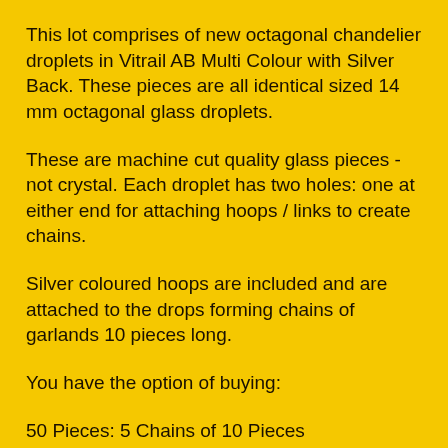This lot comprises of new octagonal chandelier droplets in Vitrail AB Multi Colour with Silver Back. These pieces are all identical sized 14 mm octagonal glass droplets.
These are machine cut quality glass pieces - not crystal. Each droplet has two holes: one at either end for attaching hoops / links to create chains.
Silver coloured hoops are included and are attached to the drops forming chains of garlands 10 pieces long.
You have the option of buying:
50 Pieces: 5 Chains of 10 Pieces
100 Pieces: 10 Chains of 10 Pieces
200 Pieces: 20 Chains of 10 Pieces